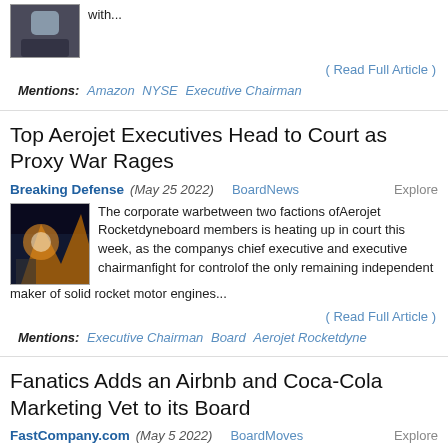[Figure (photo): Man in dark suit seated with hands clasped]
with...
( Read Full Article )
Mentions: Amazon  NYSE  Executive Chairman
Top Aerojet Executives Head to Court as Proxy War Rages
Breaking Defense (May 25 2022)   BoardNews   Explore
[Figure (photo): Rocket engine firing, orange flame and smoke]
The corporate warbetween two factions ofAerojet Rocketdyneboard members is heating up in court this week, as the companys chief executive and executive chairmanfight for controlof the only remaining independent maker of solid rocket motor engines...
( Read Full Article )
Mentions: Executive Chairman  Board  Aerojet Rocketdyne
Fanatics Adds an Airbnb and Coca-Cola Marketing Vet to its Board
FastCompany.com (May 5 2022)   BoardMoves   Explore
[Figure (photo): Person headshot, partially visible]
consumer internet sector investments at SoftBank